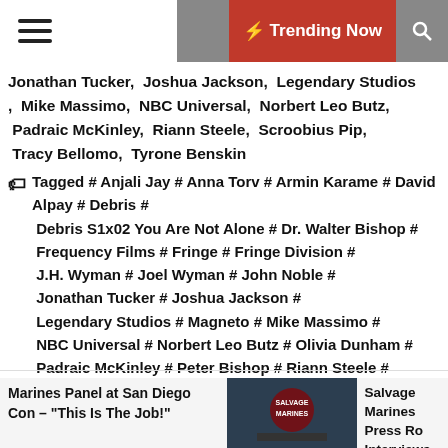☰ 🌙 ⚡ Trending Now 🔍
Jonathan Tucker,  Joshua Jackson,  Legendary Studios ,  Mike Massimo,  NBC Universal,  Norbert Leo Butz,  Padraic McKinley,  Riann Steele,  Scroobius Pip,  Tracy Bellomo,  Tyrone Benskin
Tagged # Anjali Jay # Anna Torv # Armin Karame # David Alpay # Debris # Debris S1x02 You Are Not Alone # Dr. Walter Bishop # Frequency Films # Fringe # Fringe Division # J.H. Wyman # Joel Wyman # John Noble # Jonathan Tucker # Joshua Jackson # Legendary Studios # Magneto # Mike Massimo # NBC Universal # Norbert Leo Butz # Olivia Dunham # Padraic McKinley # Peter Bishop # Riann Steele # Scroobius Pip # The X-Files # Tracy Bellomo # Tyrone Benskin # X-Men
Marines Panel at San Diego Con – "This Is The Job!"
Salvage Marines Press Ro Interviews at San Diego C